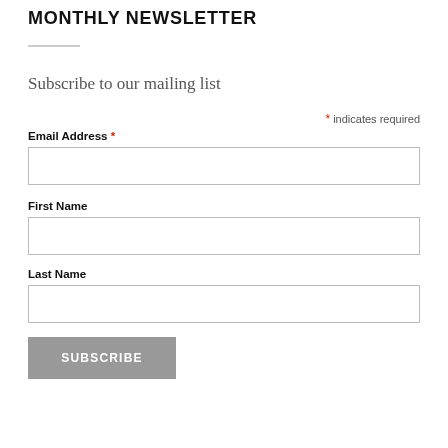MONTHLY NEWSLETTER
Subscribe to our mailing list
* indicates required
Email Address *
First Name
Last Name
SUBSCRIBE